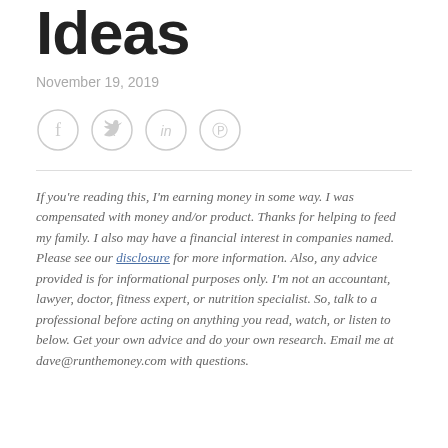Ideas
November 19, 2019
[Figure (other): Social share icons: Facebook, Twitter, LinkedIn, Pinterest]
If you're reading this, I'm earning money in some way. I was compensated with money and/or product. Thanks for helping to feed my family. I also may have a financial interest in companies named. Please see our disclosure for more information. Also, any advice provided is for informational purposes only. I'm not an accountant, lawyer, doctor, fitness expert, or nutrition specialist. So, talk to a professional before acting on anything you read, watch, or listen to below. Get your own advice and do your own research. Email me at dave@runthemoney.com with questions.